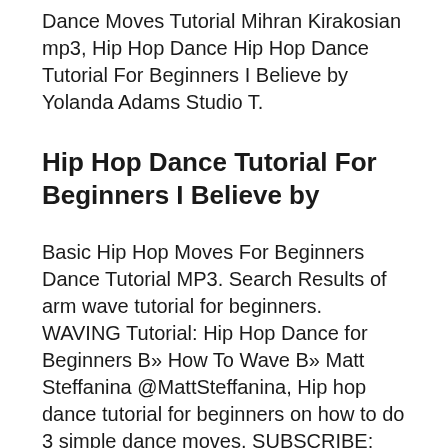Dance Moves Tutorial Mihran Kirakosian mp3, Hip Hop Dance Hip Hop Dance Tutorial For Beginners I Believe by Yolanda Adams Studio T.
Hip Hop Dance Tutorial For Beginners I Believe by
Basic Hip Hop Moves For Beginners Dance Tutorial MP3. Search Results of arm wave tutorial for beginners. WAVING Tutorial: Hip Hop Dance for Beginners B» How To Wave B» Matt Steffanina @MattSteffanina, Hip hop dance tutorial for beginners on how to do 3 simple dance moves. SUBSCRIBE: http://bit.ly/MihranKnnTRY IT WITH